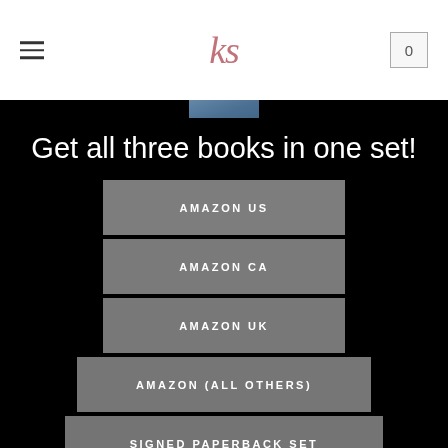ks — navigation header with hamburger menu and cart (0)
[Figure (photo): Top portion of a book stack visible at the top of the black background area]
Get all three books in one set!
AMAZON US
AMAZON CA
AMAZON UK
AMAZON (ALL OTHERS)
SIGNED PAPERBACK SET
GOODREADS